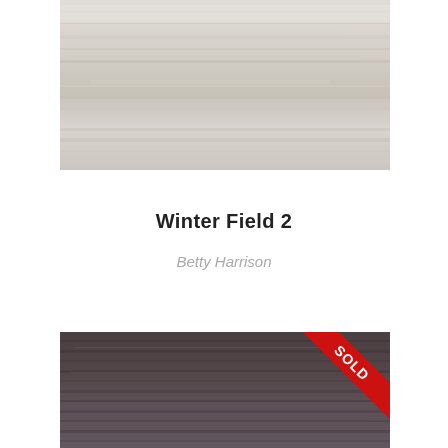[Figure (photo): Detail of a painting showing light grey and cream horizontal textures, resembling a winter field or sky]
Winter Field 2
Betty Harrison
[Figure (photo): Detail of a dark grey/brown painting with horizontal brushstrokes, showing the lower portion of the artwork. A red 'SOLD' banner is in the upper right corner.]